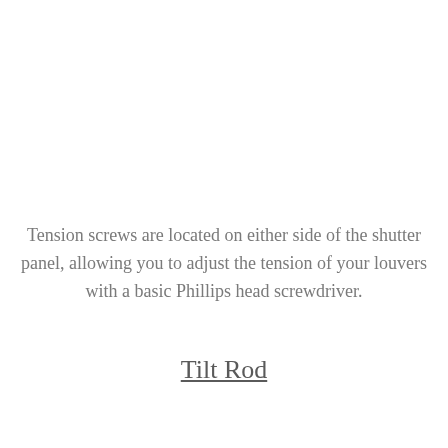Tension screws are located on either side of the shutter panel, allowing you to adjust the tension of your louvers with a basic Phillips head screwdriver.
Tilt Rod